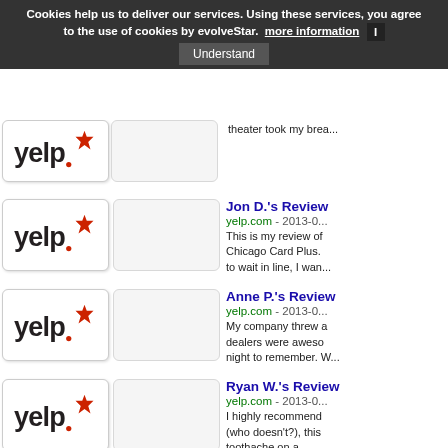Cookies help us to deliver our services. Using these services, you agree to the use of cookies by evolveStar. more information | Understand
theater took my brea...
Jon D.'s Review
yelp.com - 2013-0...
This is my review of Chicago Card Plus. to wait in line, I wan...
Anne P.'s Review
yelp.com - 2013-0...
My company threw a dealers were aweso night to remember. W...
Ryan W.'s Review
yelp.com - 2013-0...
I highly recommend (who doesn't?), this toothache on a...